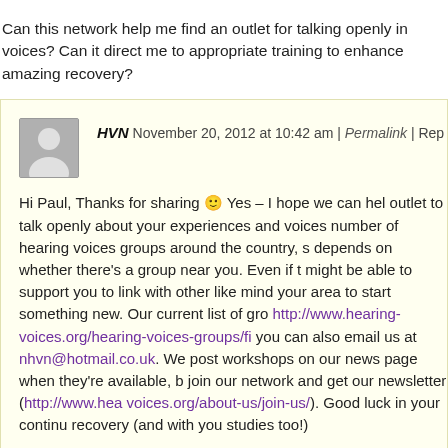Can this network help me find an outlet for talking openly in voices? Can it direct me to appropriate training to enhance amazing recovery?
HVN November 20, 2012 at 10:42 am | Permalink | Rep Hi Paul, Thanks for sharing 🙂 Yes – I hope we can help outlet to talk openly about your experiences and voices number of hearing voices groups around the country, so depends on whether there's a group near you. Even if t might be able to support you to link with other like mind your area to start something new. Our current list of gro http://www.hearing-voices.org/hearing-voices-groups/fi you can also email us at nhvn@hotmail.co.uk. We post workshops on our news page when they're available, b join our network and get our newsletter (http://www.hea voices.org/about-us/join-us/). Good luck in your continu recovery (and with you studies too!)